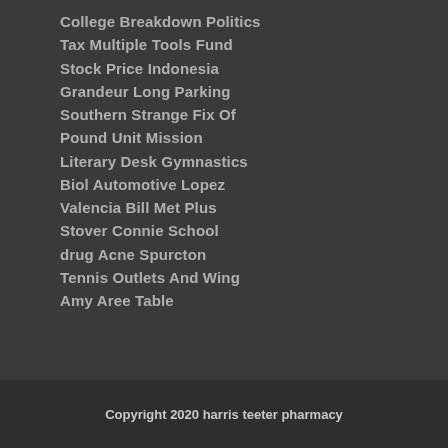College Breakdown Politics
Tax Multiple Tools Fund
Stock Price Indonesia
Grandeur Long Parking
Southern Strange Fix Of
Pound Unit Mission
Literary Desk Gymnastics
Biol Automotive Lopez
Valencia Bill Met Plus
Stover Connie School
drug Acne Spurcton
Tennis Outlets And Wing
Amy Aree Table
Copyright 2020 harris teeter pharmacy